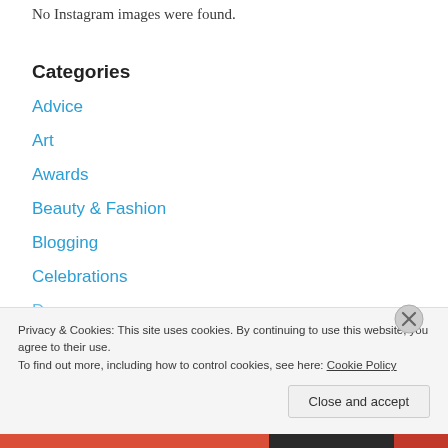No Instagram images were found.
Categories
Advice
Art
Awards
Beauty & Fashion
Blogging
Celebrations
Dreams
Privacy & Cookies: This site uses cookies. By continuing to use this website, you agree to their use.
To find out more, including how to control cookies, see here: Cookie Policy
Close and accept